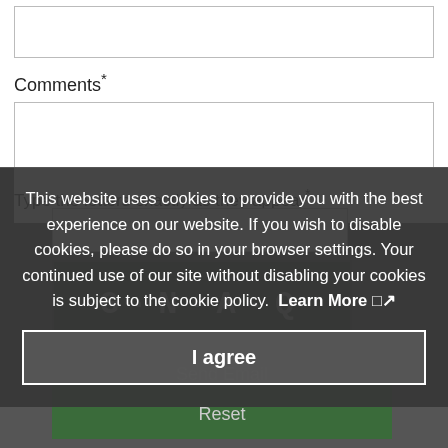[input box top]
Comments*
[textarea for comments]
Type the letters exactly as they appear*
[Figure (screenshot): Cookie consent overlay banner with dark semi-transparent background. Text reads: 'This website uses cookies to provide you with the best experience on our website. If you wish to disable cookies, please do so in your browser settings. Your continued use of our site without disabling your cookies is subject to the cookie policy. Learn More [icon]'. Below is an 'I agree' button with white border. Behind the overlay: a CAPTCHA image box, Send Email button, and Reset button.]
This website uses cookies to provide you with the best experience on our website. If you wish to disable cookies, please do so in your browser settings. Your continued use of our site without disabling your cookies is subject to the cookie policy. Learn More
I agree
Send Email
Reset